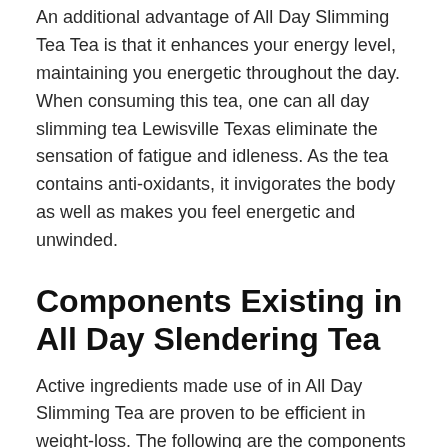An additional advantage of All Day Slimming Tea Tea is that it enhances your energy level, maintaining you energetic throughout the day. When consuming this tea, one can all day slimming tea Lewisville Texas eliminate the sensation of fatigue and idleness. As the tea contains anti-oxidants, it invigorates the body as well as makes you feel energetic and unwinded.
Components Existing in All Day Slendering Tea
Active ingredients made use of in All Day Slimming Tea are proven to be efficient in weight-loss. The following are the components present in the formula.